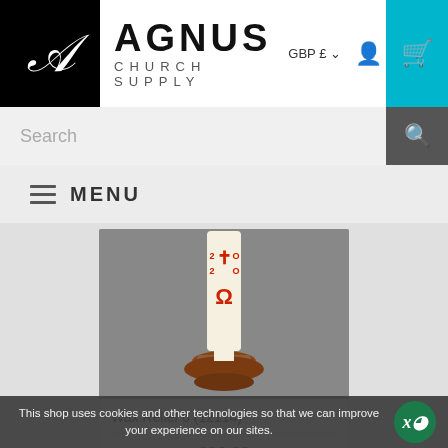[Figure (logo): Agnus Church Supply logo — black square with stylized white letter A on left, large bold AGNUS text and CHURCH SUPPLY subtitle on right]
GBP £
[Figure (screenshot): Search bar with placeholder text 'Search' and search icon button]
≡ MENU
[Figure (photo): Wax relief candle in a wooden holder against grey background. Candle has red cross and Greek letters (Alpha, Omega) decoration.]
Wax Relief 6 (12114)
£20.02
This shop uses cookies and other technologies so that we can improve your experience on our sites.